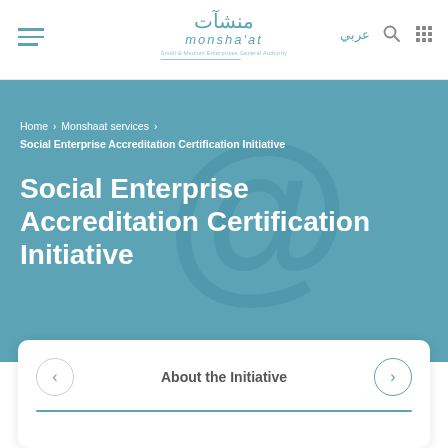[Figure (logo): Monshaat logo with Arabic text منشآت and English monsha'at text below, with tagline for SME support]
عربي
Home › Monshaat services › Social Enterprise Accreditation Certification Initiative
Social Enterprise Accreditation Certification Initiative
About the Initiative